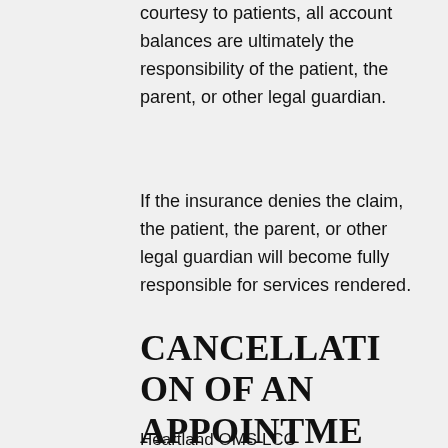courtesy to patients, all account balances are ultimately the responsibility of the patient, the parent, or other legal guardian.
If the insurance denies the claim, the patient, the parent, or other legal guardian will become fully responsible for services rendered.
CANCELLATION OF AN APPOINTMENT
Heartland OMS LCC